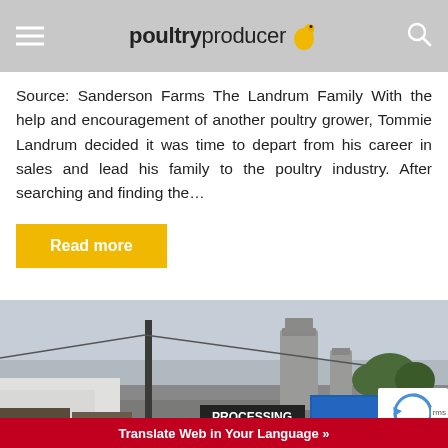poultryproducer
Source: Sanderson Farms The Landrum Family With the help and encouragement of another poultry grower, Tommie Landrum decided it was time to depart from his career in sales and lead his family to the poultry industry. After searching and finding the…
Read more
[Figure (photo): Outdoor industrial/processing facility with silos, trucks, and a sign reading PROCESSING under an overcast sky]
Translate Web in Your Language »